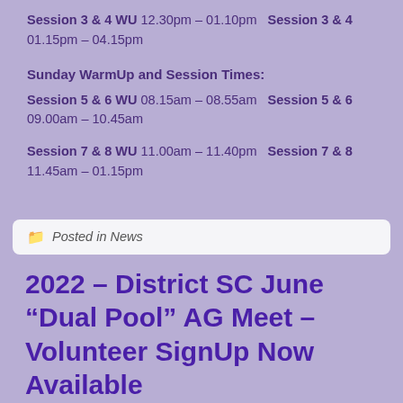Session 3 & 4 WU  12.30pm – 01.10pm  Session 3 & 4  01.15pm – 04.15pm
Sunday WarmUp and Session Times:
Session 5 & 6 WU  08.15am – 08.55am  Session 5 & 6  09.00am – 10.45am
Session 7 & 8 WU  11.00am – 11.40pm  Session 7 & 8  11.45am – 01.15pm
Posted in News
2022 – District SC June “Dual Pool” AG Meet – Volunteer SignUp Now Available